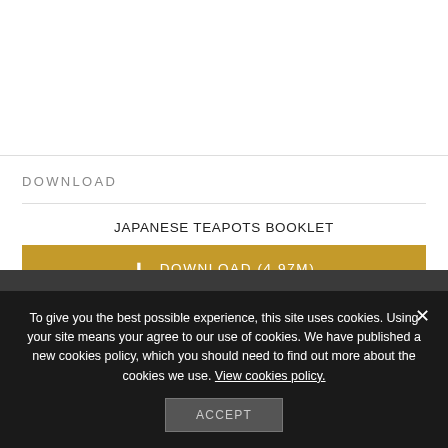DOWNLOAD
JAPANESE TEAPOTS BOOKLET
⬇ DOWNLOAD (4.97M)
CONTACT US
To give you the best possible experience, this site uses cookies. Using your site means your agree to our use of cookies. We have published a new cookies policy, which you should need to find out more about the cookies we use. View cookies policy.
ACCEPT